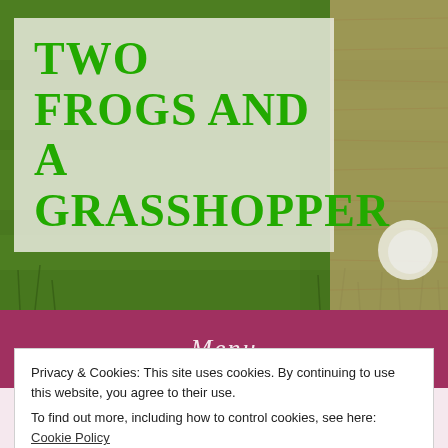TWO FROGS AND A GRASSHOPPER
Menu
TAG ARCHIVE | WEARABLE QUILT
Where would you nest
Privacy & Cookies: This site uses cookies. By continuing to use this website, you agree to their use.
To find out more, including how to control cookies, see here: Cookie Policy
suppose, although they generally aren't associated with a lot of